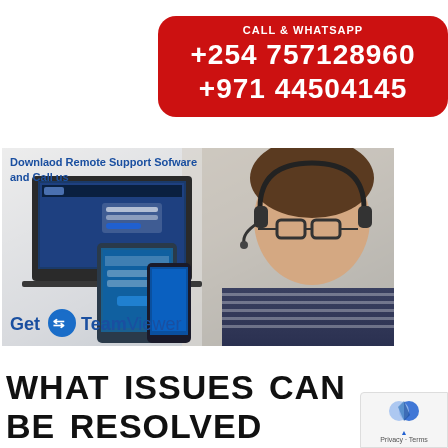[Figure (infographic): Red rounded rectangle banner with CALL & WHATSAPP heading and phone numbers +254 757128960 and +971 44504145 in white bold text on red background]
[Figure (photo): Remote support advertisement image showing devices (laptop, tablet, phone) with TeamViewer software displayed, and a man wearing a headset on the right side. Text says 'Downlaod Remote Support Sofware and Call us' with 'Get TeamViewer' logo at bottom]
WHAT ISSUES CAN BE RESOLVED THROUGH